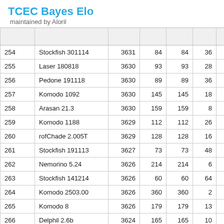TCEC Bayes Elo
maintained by Aloril
|  |  |  |  |  |  |  |  |
| --- | --- | --- | --- | --- | --- | --- | --- |
| 254 | Stockfish 301114 | 3631 | 84 | 84 | 36 | 50% | 3 |
| 255 | Laser 180818 | 3630 | 93 | 93 | 28 | 43% | 3 |
| 256 | Pedone 191118 | 3630 | 89 | 89 | 36 | 44% | 3 |
| 257 | Komodo 1092 | 3630 | 145 | 145 | 18 | 78% | 3 |
| 258 | Arasan 21.3 | 3630 | 159 | 159 | 8 | 44% | 3 |
| 259 | Komodo 1188 | 3629 | 112 | 112 | 26 | 79% | 3 |
| 260 | rofChade 2.005T | 3629 | 128 | 128 | 16 | 38% | 3 |
| 261 | Stockfish 191113 | 3627 | 73 | 73 | 48 | 48% | 3 |
| 262 | Nemorino 5.24 | 3626 | 214 | 214 | 6 | 17% | 3 |
| 263 | Stockfish 141214 | 3626 | 60 | 60 | 64 | 48% | 3 |
| 264 | Komodo 2503.00 | 3626 | 360 | 360 | 2 | 0% | 3 |
| 265 | Komodo 8 | 3626 | 179 | 179 | 13 | 88% | 3 |
| 266 | Delphil 2.6b | 3624 | 165 | 165 | 10 | 50% | 3 |